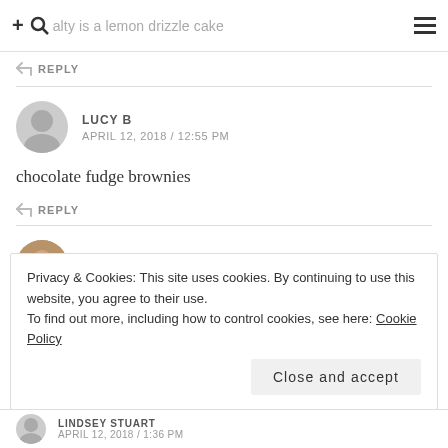+ specialty is a lemon drizzle cake
REPLY
LUCY B
APRIL 12, 2018 / 12:55 PM
chocolate fudge brownies
REPLY
CARRIE-ANNE BROWN
APRIL 12, 2018 / 1:21 PM
Privacy & Cookies: This site uses cookies. By continuing to use this website, you agree to their use.
To find out more, including how to control cookies, see here: Cookie Policy
Close and accept
LINDSEY STUART
APRIL 12, 2018 / 1:36 PM